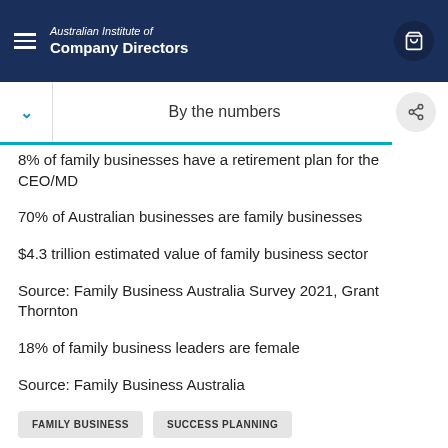Australian Institute of Company Directors
By the numbers
8% of family businesses have a retirement plan for the CEO/MD
70% of Australian businesses are family businesses
$4.3 trillion estimated value of family business sector
Source: Family Business Australia Survey 2021, Grant Thornton
18% of family business leaders are female
Source: Family Business Australia
FAMILY BUSINESS   SUCCESS PLANNING